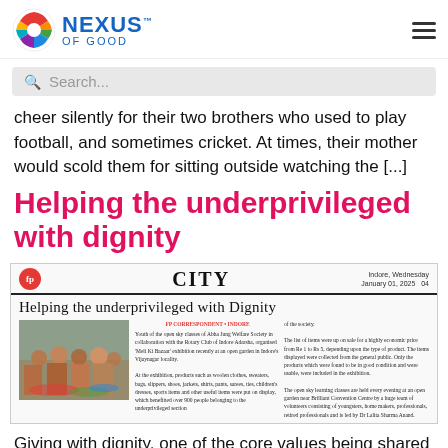[Figure (logo): Nexus of Good logo with colorful circular emblem and blue text]
[Figure (screenshot): Search bar UI element with placeholder text 'Search...']
cheer silently for their two brothers who used to play football, and sometimes cricket. At times, their mother would scold them for sitting outside watching the [...]
Helping the underprivileged with dignity
[Figure (screenshot): Newspaper clipping showing 'CITY' section header with 'fp' logo, headline 'Helping the underprivileged with Dignity', a photo of people at an open-air exhibition, and two columns of article text. Date: Indore, Wednesday, January 01, 2025, page 04.]
Giving with dignity, one of the core values being shared